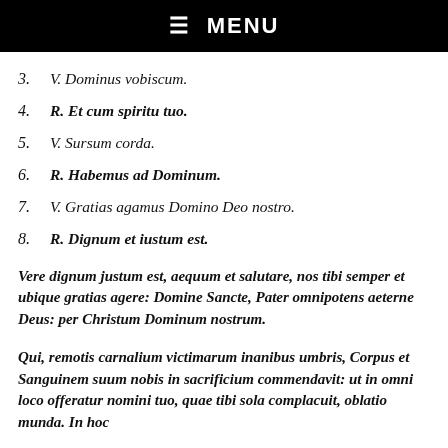☰  MENU
3.  V. Dominus vobiscum.
4.  R. Et cum spiritu tuo.
5.  V. Sursum corda.
6.  R. Habemus ad Dominum.
7.  V. Gratias agamus Domino Deo nostro.
8.  R. Dignum et iustum est.
Vere dignum justum est, aequum et salutare, nos tibi semper et ubique gratias agere: Domine Sancte, Pater omnipotens aeterne Deus: per Christum Dominum nostrum.
Qui, remotis carnalium victimarum inanibus umbris, Corpus et Sanguinem suum nobis in sacrificium commendavit: ut in omni loco offeratur nomini tuo, quae tibi sola complacuit, oblatio munda. In hoc